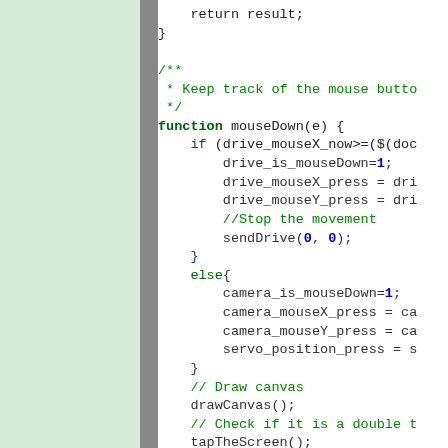[Figure (screenshot): Code editor screenshot showing JavaScript code with a mouseDown function, including drive and camera mouse tracking logic, sendDrive call, drawCanvas and tapTheScreen calls. Green sidebar on the left, gray line separator, white code area on the right.]